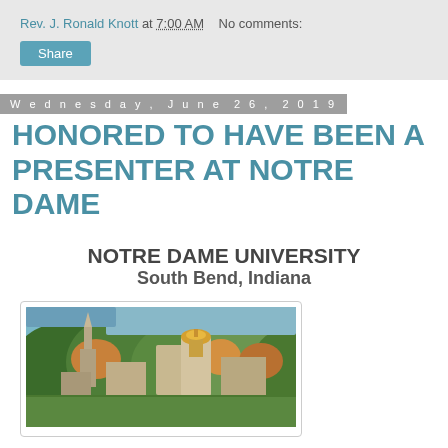Rev. J. Ronald Knott at 7:00 AM   No comments:
Share
Wednesday, June 26, 2019
HONORED TO HAVE BEEN A PRESENTER AT NOTRE DAME
NOTRE DAME UNIVERSITY
South Bend, Indiana
[Figure (photo): Aerial photograph of Notre Dame University campus in South Bend, Indiana, showing the Golden Dome, Basilica spire, and surrounding trees with a lake in the background.]